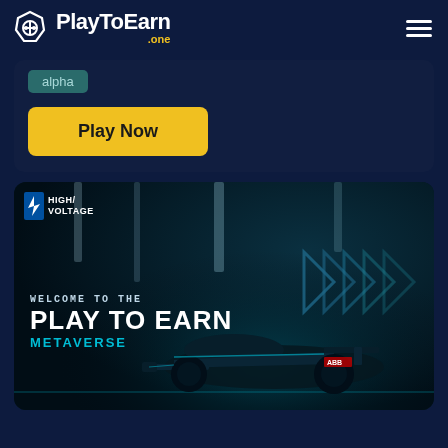PlayToEarn .one
alpha
Play Now
[Figure (screenshot): High Voltage game banner showing a futuristic racing car with text 'WELCOME TO THE PLAY TO EARN METAVERSE' on a dark teal background with chevron arrows]